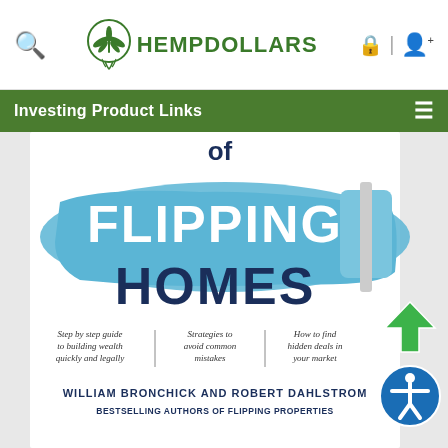HEMPDOLLARS — website header with search icon, logo, lock and user icons
Investing Product Links
[Figure (photo): Book cover for 'Flipping Homes' by William Bronchick and Robert Dahlstrom, Bestselling Authors of Flipping Properties. Shows large blue brushstroke with white text 'FLIPPING HOMES' and three taglines: 'Step by step guide to building wealth quickly and legally', 'Strategies to avoid common mistakes', 'How to find hidden deals in your market'.]